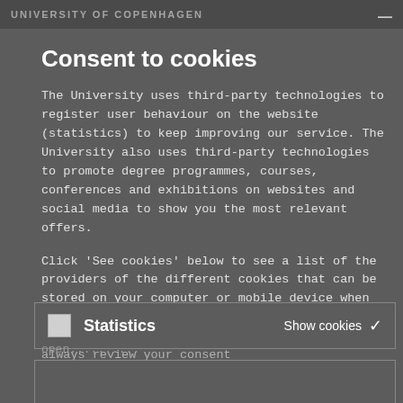UNIVERSITY OF COPENHAGEN
Consent to cookies
The University uses third-party technologies to register user behaviour on the website (statistics) to keep improving our service. The University also uses third-party technologies to promote degree programmes, courses, conferences and exhibitions on websites and social media to show you the most relevant offers.
Click 'See cookies' below to see a list of the providers of the different cookies that can be stored on your computer or mobile device when you use the University's website. You can choose to accept or reject cookies and you can always review your consent
Statistics   Show cookies ✓